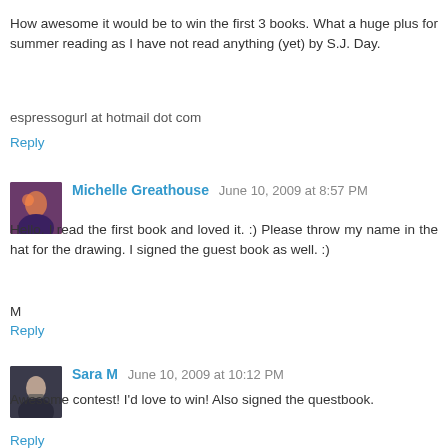How awesome it would be to win the first 3 books. What a huge plus for summer reading as I have not read anything (yet) by S.J. Day.
espressogurl at hotmail dot com
Reply
Michelle Greathouse  June 10, 2009 at 8:57 PM
Hello. I read the first book and loved it. :) Please throw my name in the hat for the drawing. I signed the guest book as well. :)
M
Reply
Sara M  June 10, 2009 at 10:12 PM
Awesome contest! I'd love to win! Also signed the questbook.
Reply